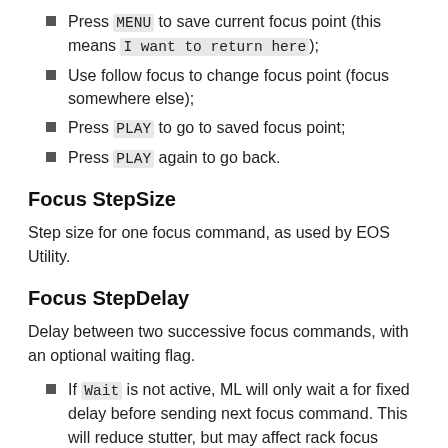Press MENU to save current focus point (this means I want to return here);
Use follow focus to change focus point (focus somewhere else);
Press PLAY to go to saved focus point;
Press PLAY again to go back.
Focus StepSize
Step size for one focus command, as used by EOS Utility.
Focus StepDelay
Delay between two successive focus commands, with an optional waiting flag.
If Wait is not active, ML will only wait a for fixed delay before sending next focus command. This will reduce stutter, but may affect rack focus accuracy. This setting is recommended if you only